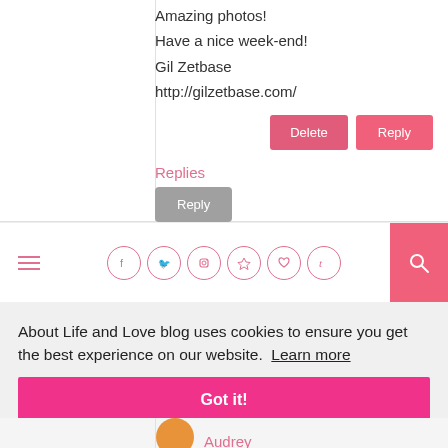Amazing photos!
Have a nice week-end!
Gil Zetbase
http://gilzetbase.com/
Replies
[Figure (screenshot): Navigation bar with hamburger menu, social media icons (Facebook, Twitter, Instagram, Pinterest, Heart, Tumblr), and pink search button]
About Life and Love blog uses cookies to ensure you get the best experience on our website. Learn more
Got it!
Audrey